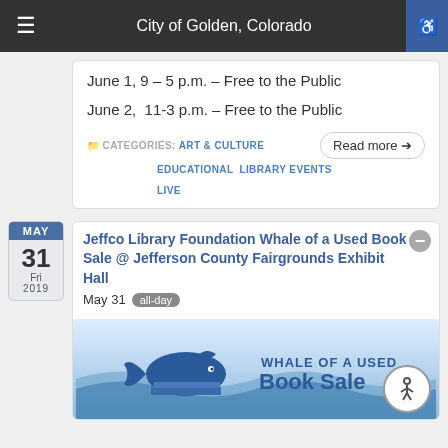City of Golden, Colorado
June 1, 9 – 5 p.m. – Free to the Public
June 2,  11-3 p.m. – Free to the Public
CATEGORIES: ART & CULTURE  EDUCATIONAL  LIBRARY EVENTS  LIVE
Jeffco Library Foundation Whale of a Used Book Sale @ Jefferson County Fairgrounds Exhibit Hall
May 31  all-day
[Figure (illustration): Whale of a Used Book Sale promotional graphic with a blue whale on a stack of books and waves, with text 'WHALE OF A USED Book Sale']